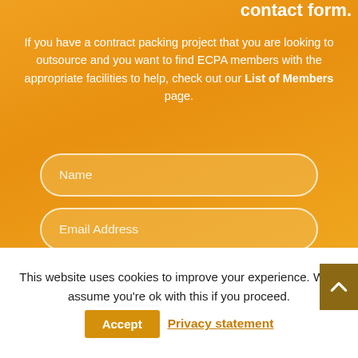contact form.
If you have a contract packing project that you are looking to outsource and you want to find ECPA members with the appropriate facilities to help, check out our List of Members page.
[Figure (screenshot): Form fields: Name, Email Address, Message on orange background]
This website uses cookies to improve your experience. We'll assume you're ok with this if you proceed. Accept Privacy statement